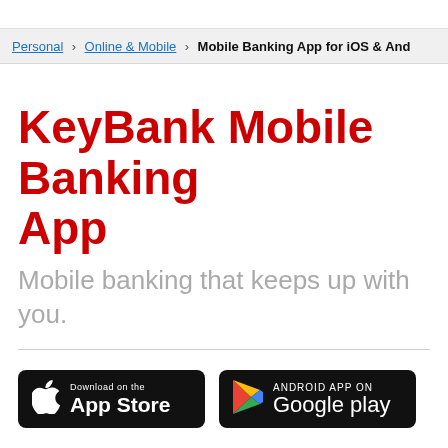Personal > Online & Mobile > Mobile Banking App for iOS & And
KeyBank Mobile Banking App
Mobile banking that keeps up with you.
[Figure (other): Download on the App Store badge (black button with Apple logo)]
[Figure (other): Android App on Google Play badge (black button with Google Play triangle logo)]
See your big financial picture, and manage it securely anytime. With the tools and features in